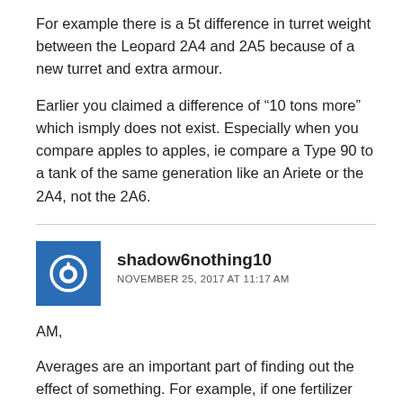For example there is a 5t difference in turret weight between the Leopard 2A4 and 2A5 because of a new turret and extra armour.
Earlier you claimed a difference of “10 tons more” which ismply does not exist. Especially when you compare apples to apples, ie compare a Type 90 to a tank of the same generation like an Ariete or the 2A4, not the 2A6.
shadow6nothing10
NOVEMBER 25, 2017 AT 11:17 AM
AM,
Averages are an important part of finding out the effect of something. For example, if one fertilizer makes plants on average taller than another fertilizer, you can infer that the first fertilizer is more effective than the other. It’s not perfect, but it’s better than only looking at individual data points, because